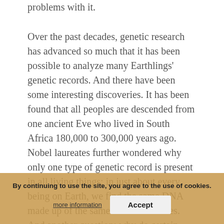problems with it.

Over the past decades, genetic research has advanced so much that it has been possible to analyze many Earthlings' genetic records. And there have been some interesting discoveries. It has been found that all peoples are descended from one ancient Eve who lived in South Africa 180,000 to 300,000 years ago. Nobel laureates further wondered why only one type of genetic record is present in all living things: in just about every being on Earth, we find the same DNA made up of the same four nucleotides. And another question: why do certain chemical elements that are present in the environment only in insignificant amounts play a key role in the development of biological life forms, while elements like chromium or nickel, which are abundant in our environment, give biological researchers (Crick and Orgel) have upset the public by stating that the original organisms did not appear on the
By continuing to use the site, you agree to the use of cookies. more information  Accept